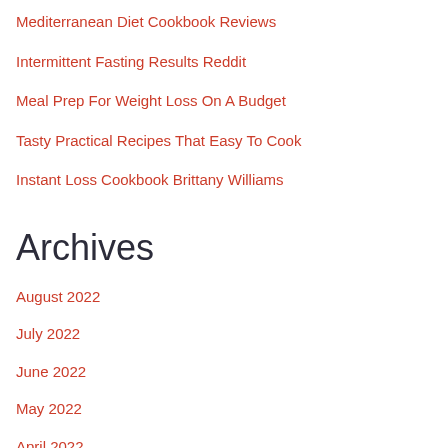Mediterranean Diet Cookbook Reviews
Intermittent Fasting Results Reddit
Meal Prep For Weight Loss On A Budget
Tasty Practical Recipes That Easy To Cook
Instant Loss Cookbook Brittany Williams
Archives
August 2022
July 2022
June 2022
May 2022
April 2022
March 2022
February 2022
January 2022
December 2021